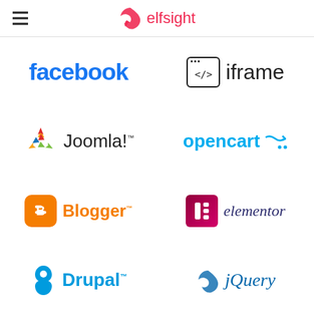elfsight
[Figure (logo): Facebook logo - bold blue text]
[Figure (logo): iframe logo - code bracket box with text]
[Figure (logo): Joomla! logo with colorful asterisk symbol]
[Figure (logo): OpenCart logo - cyan text with cart arrow]
[Figure (logo): Blogger logo - orange B icon with orange text]
[Figure (logo): Elementor logo - purple/pink E icon with dark italic text]
[Figure (logo): Drupal logo - partial, blue text with droplet icon]
[Figure (logo): jQuery logo - partial, blue italic text]